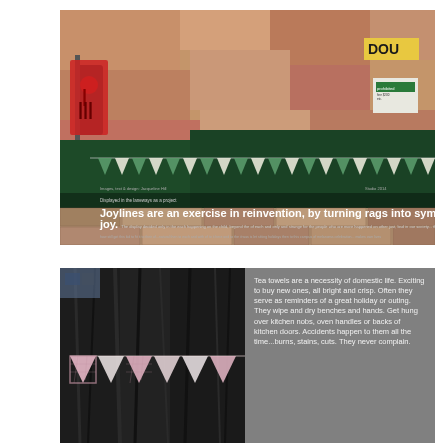[Figure (photo): Street scene with a brick wall painted dark green at the bottom half and terracotta/pink at the top. A row of green and white triangular bunting flags hangs across the wall. A red traffic light is visible on the left. Signs and text overlay including 'Joylines are an exercise in reinvention, by turning rags into symbols of joy.' are visible at the bottom of the image.]
[Figure (photo): Close-up photo of a dark tree trunk with pink and white gingham/checked triangular bunting flags hanging across it.]
Tea towels are a necessity of domestic life. Exciting to buy new ones, all bright and crisp. Often they serve as reminders of a great holiday or outing. They wipe and dry benches and hands. Get hung over kitchen nobs, oven handles or backs of kitchen doors. Accidents happen to them all the time...burns, stains, cuts. They never complain.